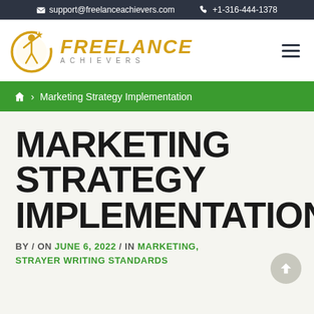support@freelanceachievers.com  +1-316-444-1378
[Figure (logo): Freelance Achievers logo with golden circle figure and text]
Home > Marketing Strategy Implementation
MARKETING STRATEGY IMPLEMENTATION
BY / ON JUNE 6, 2022 / IN MARKETING, STRAYER WRITING STANDARDS